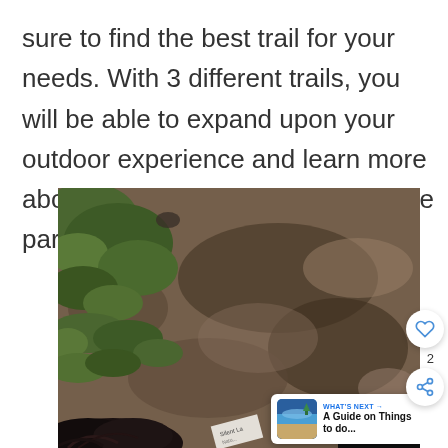sure to find the best trail for your needs. With 3 different trails, you will be able to expand upon your outdoor experience and learn more about the history and ecology of the park.
[Figure (photo): Aerial/overhead photo of a muddy dirt trail with grass patches on the left side, and a person's dark hair visible at the bottom left. A small paper sign reading 'Silent Lake' is visible at the bottom center. UI elements overlaid: a heart/like button showing '2', a share button, and a 'WHAT'S NEXT' card with a thumbnail showing a beach scene and text 'A Guide on Things to do...']